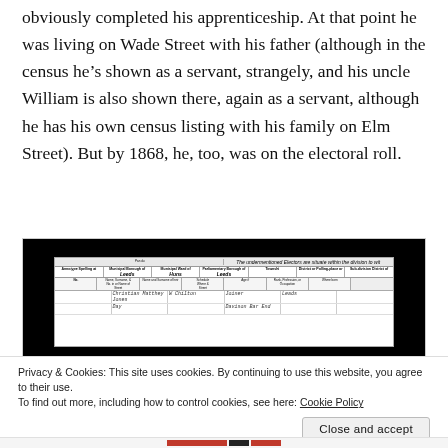obviously completed his apprenticeship. At that point he was living on Wade Street with his father (although in the census he's shown as a servant, strangely, and his uncle William is also shown there, again as a servant, although he has his own census listing with his family on Elm Street). But by 1868, he, too, was on the electoral roll.
[Figure (photo): A scanned historical census document shown against a black background. The document appears to be a Victorian-era electoral or census roll with handwritten entries in cursive script organized in a tabular format with multiple columns.]
Privacy & Cookies: This site uses cookies. By continuing to use this website, you agree to their use.
To find out more, including how to control cookies, see here: Cookie Policy
Close and accept